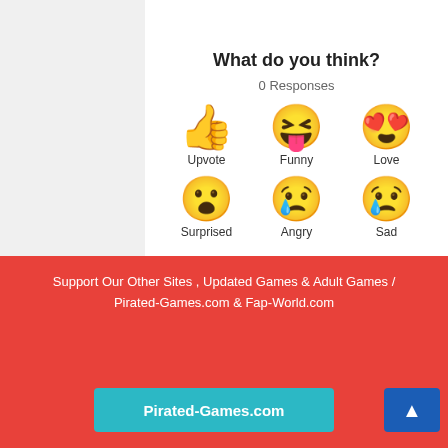What do you think?
0 Responses
[Figure (other): Six emoji reaction buttons in a 2x3 grid: Upvote (thumbs up), Funny (laughing face with tongue), Love (heart eyes), Surprised (open mouth), Angry (crying/angry face), Sad (sad face with tear)]
Comments   Community   🔒
sted
Support Our Other Sites , Updated Games & Adult Games / Pirated-Games.com & Fap-World.com
Pirated-Games.com